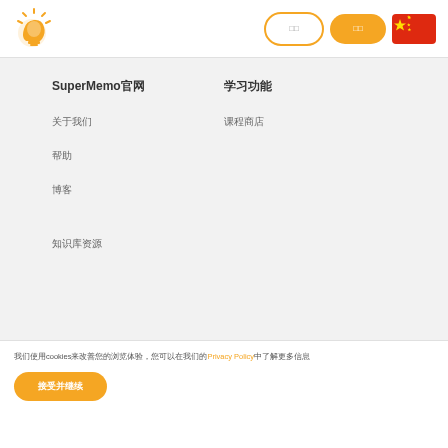SuperMemo logo header with navigation buttons and Chinese flag
SuperMemo官网
关于我们
帮助
博客
知识库资源
学习功能
课程商店
[Figure (screenshot): Download on the App Store button]
[Figure (screenshot): GET IT ON Google Play button]
我们使用cookies来改善您的浏览体验，您可以在我们的Privacy Policy中了解更多信息
接受并继续